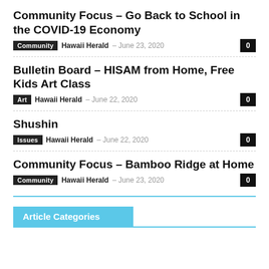Community Focus – Go Back to School in the COVID-19 Economy
Community  Hawaii Herald  –  June 23, 2020  0
Bulletin Board – HISAM from Home, Free Kids Art Class
Art  Hawaii Herald  –  June 22, 2020  0
Shushin
Issues  Hawaii Herald  –  June 22, 2020  0
Community Focus – Bamboo Ridge at Home
Community  Hawaii Herald  –  June 23, 2020  0
Article Categories